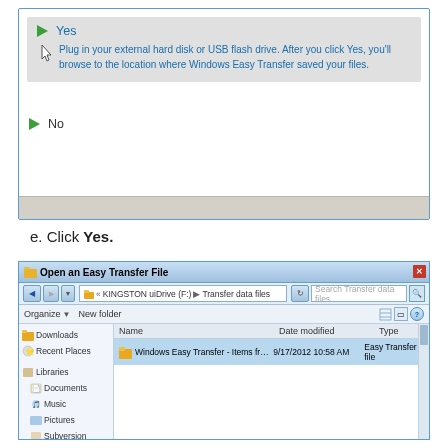[Figure (screenshot): Windows Easy Transfer dialog showing Yes option selected (highlighted in gray) with text 'Plug in your external hard disk or USB flash drive. After you click Yes, you'll browse to the location where Windows Easy Transfer saved your files.' and a No option below. Gray bar at bottom.]
e. Click Yes.
[Figure (screenshot): Windows Explorer dialog titled 'Open an Easy Transfer File' showing KINGSTON uiDrive (F:) > Transfer data files path, with a file 'Windows Easy Transfer - Items from old ...' dated 9/17/2012 10:58 AM, Type: Easy Transfer file. Left panel shows Downloads, Recent Places, Libraries, Documents, Music, Pictures, Subversion, Videos.]